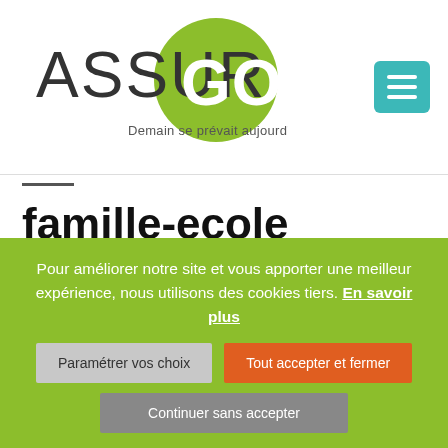[Figure (logo): AssurGo logo with green circle and tagline 'Demain se prévait aujourd'hui']
famille-ecole
Pour améliorer notre site et vous apporter une meilleur expérience, nous utilisons des cookies tiers. En savoir plus
Paramétrer vos choix
Tout accepter et fermer
Continuer sans accepter